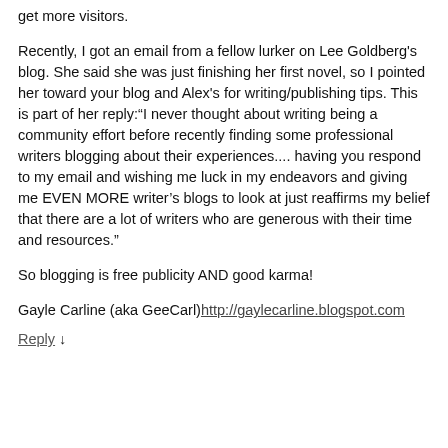get more visitors.
Recently, I got an email from a fellow lurker on Lee Goldberg's blog. She said she was just finishing her first novel, so I pointed her toward your blog and Alex's for writing/publishing tips. This is part of her reply:“I never thought about writing being a community effort before recently finding some professional writers blogging about their experiences.... having you respond to my email and wishing me luck in my endeavors and giving me EVEN MORE writer’s blogs to look at just reaffirms my belief that there are a lot of writers who are generous with their time and resources.”
So blogging is free publicity AND good karma!
Gayle Carline (aka GeeCarl)http://gaylecarline.blogspot.com
Reply ↓